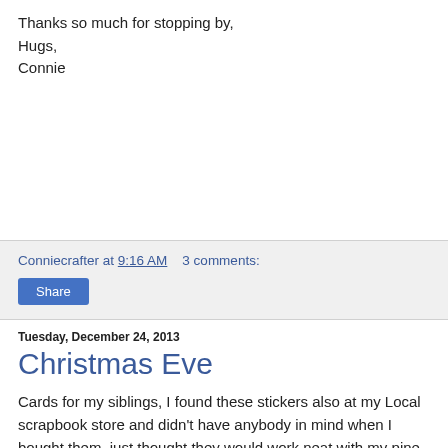Thanks so much for stopping by,
Hugs,
Connie
Conniecrafter at 9:16 AM   3 comments:
Share
Tuesday, December 24, 2013
Christmas Eve
Cards for my siblings, I found these stickers also at my Local scrapbook store and didn't have anybody in mind when I bought them, just thought they would work neat with my pine and branch dies. These too have been colored with markers and a little glitter gel pen.  I have used flock for the snow in